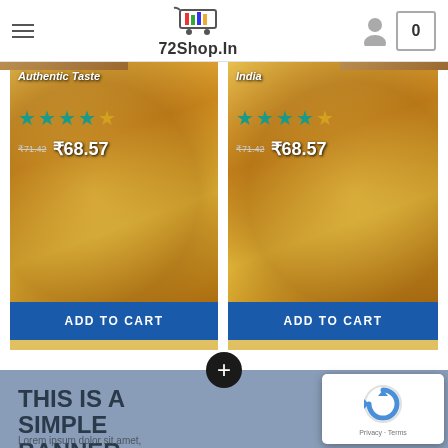72Shop.In
[Figure (screenshot): Product card - Shan Biryani Masala with food image, 4 teal stars, price ₹68.57, ADD TO CART button]
[Figure (screenshot): Product card - Imported Masala with food image, 4 teal stars, price ₹68.57, ADD TO CART button]
[Figure (infographic): Blue-grey banner section with plus circle icon and text THIS IS A SIMPLE BANNER with Lorem ipsum body text]
THIS IS A SIMPLE BANNER
Lorem ipsum dolor sit amet, consectetuer adipiscing elit, sed